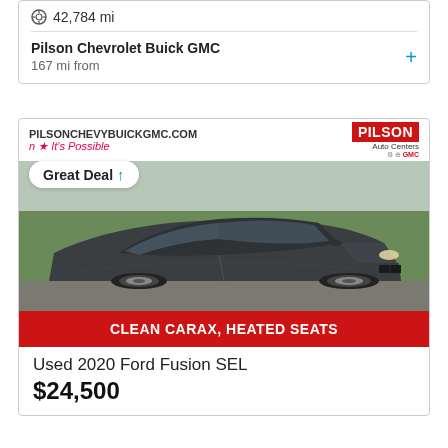42,784 mi
Pilson Chevrolet Buick GMC
167 mi from
[Figure (photo): Photo of a dark gray 2020 Ford Fusion SEL sedan parked on a lot with a green field in the background. Dealer banner at top reads PILSONCHEYYBUICKGMC.COM and Pilson Auto Centers logo. A 'Great Deal' badge overlaid on the image. Red banner at bottom reads CLEAN CARAX, HEATED SEATS.]
Used 2020 Ford Fusion SEL
$24,500